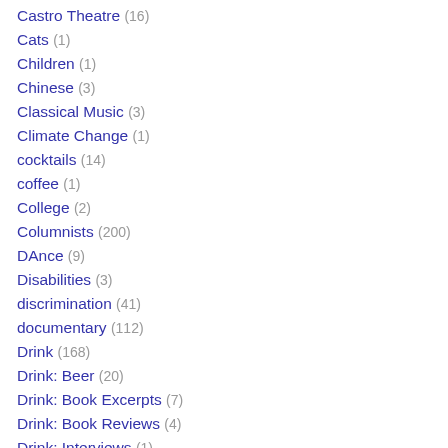Castro Theatre (16)
Cats (1)
Children (1)
Chinese (3)
Classical Music (3)
Climate Change (1)
cocktails (14)
coffee (1)
College (2)
Columnists (200)
DAnce (9)
Disabilities (3)
discrimination (41)
documentary (112)
Drink (168)
Drink: Beer (20)
Drink: Book Excerpts (7)
Drink: Book Reviews (4)
Drink: Interviews (1)
Drink: Recipes (42)